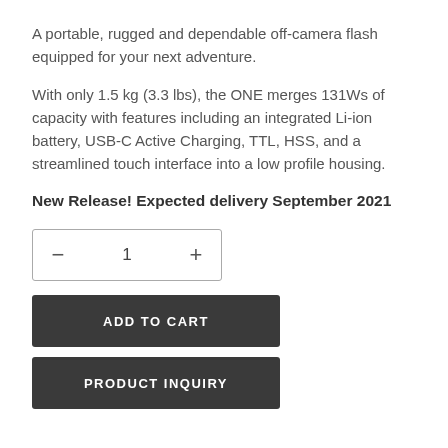A portable, rugged and dependable off-camera flash equipped for your next adventure.
With only 1.5 kg (3.3 lbs), the ONE merges 131Ws of capacity with features including an integrated Li-ion battery, USB-C Active Charging, TTL, HSS, and a streamlined touch interface into a low profile housing.
New Release! Expected delivery September 2021
[Figure (other): Quantity selector widget with minus button, number 1, and plus button inside a bordered rectangle]
[Figure (other): ADD TO CART dark button]
[Figure (other): PRODUCT INQUIRY dark button]